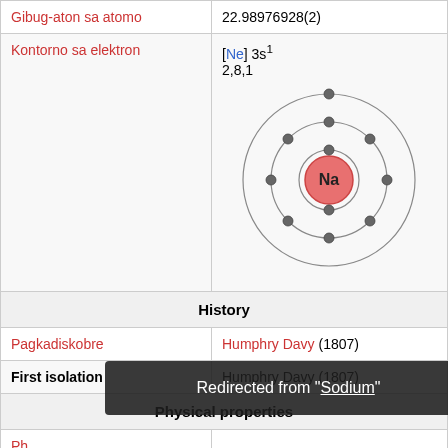| Gibug-aton sa atomo | 22.98976928(2) |
| Kontorno sa elektron | [Ne] 3s¹
2,8,1
[Bohr model diagram of Na] |
| History |  |
| Pagkadiskobre | Humphry Davy (1807) |
| First isolation | Humphry Davy (1807) |
| Physical properties |  |
| Phase |  |
| Density (near r.t.) | 0.968 g·cm⁻³ |
[Figure (engineering-diagram): Bohr model of sodium (Na) atom showing nucleus labeled Na in red/salmon color, surrounded by three electron shells with electrons depicted as grey dots. Inner shell has 2 electrons, middle shell has 8 electrons, outer shell has 1 electron.]
Redirected from "Sodium"